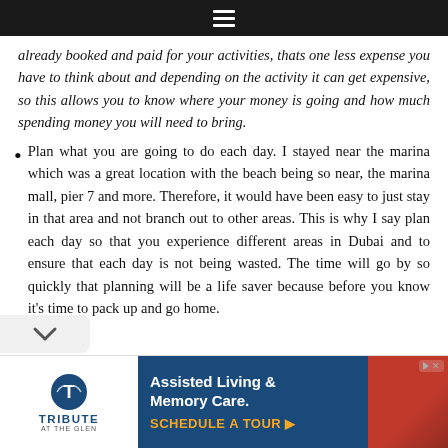☰
already booked and paid for your activities, thats one less expense you have to think about and depending on the activity it can get expensive, so this allows you to know where your money is going and how much spending money you will need to bring.
Plan what you are going to do each day. I stayed near the marina which was a great location with the beach being so near, the marina mall, pier 7 and more. Therefore, it would have been easy to just stay in that area and not branch out to other areas. This is why I say plan each day so that you experience different areas in Dubai and to ensure that each day is not being wasted. The time will go by so quickly that planning will be a life saver because before you know it's time to pack up and go home.
[Figure (other): Advertisement banner for Tribute at the Glen - Assisted Living & Memory Care. Schedule a Tour.]